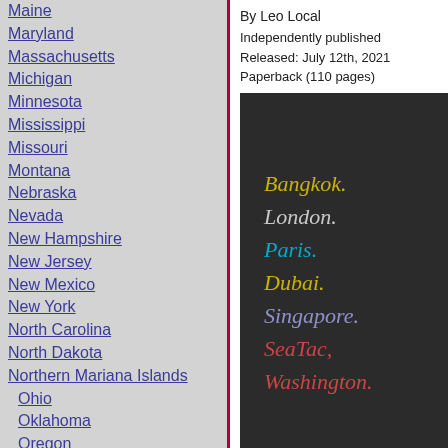Maine
Maryland
Massachusetts
Michigan
Minnesota
Mississippi
Missouri
Montana
Nebraska
Nevada
New Hampshire
New Jersey
New Mexico
New York
North Carolina
North Dakota
Northern Mariana Islands
Ohio
Oklahoma
Oregon
Pennsylvania
Puerto Rico
Rhode Island
South Carolina
South Dakota
Tennessee
Texas
By Leo Local
Independently published
Released: July 12th, 2021
Paperback (110 pages)
[Figure (illustration): Dark book cover showing city names: Bangkok, London, Paris, Dubai, Singapore, SeaTac, Washington in various colors on dark background]
Click here for details